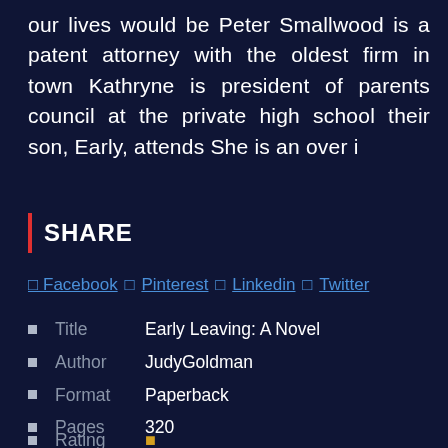our lives would be Peter Smallwood is a patent attorney with the oldest firm in town Kathryne is president of parents council at the private high school their son, Early, attends She is an over i
SHARE
Facebook  Pinterest  Linkedin  Twitter
Title    Early Leaving: A Novel
Author    JudyGoldman
Format    Paperback
Pages    320
Rating